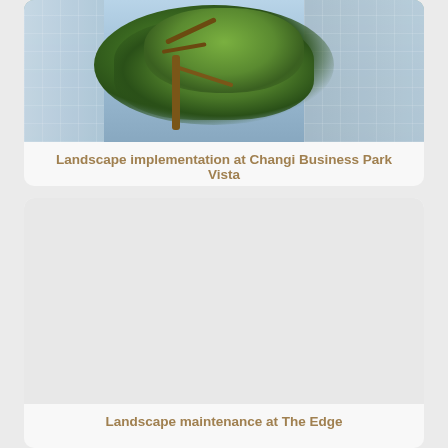[Figure (photo): Photograph of a tree with green foliage in front of glass-facade office buildings at Changi Business Park Vista]
Landscape implementation at Changi Business Park Vista
[Figure (photo): Photograph (largely white/blank) for landscape maintenance at The Edge]
Landscape maintenance at The Edge